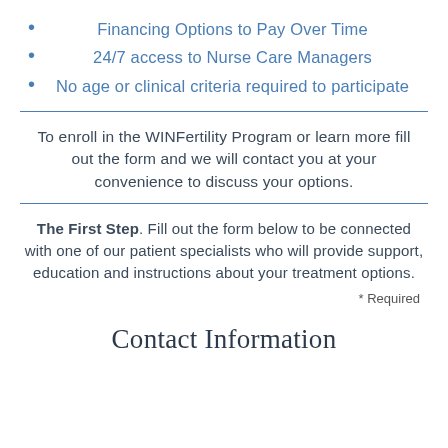Financing Options to Pay Over Time
24/7 access to Nurse Care Managers
No age or clinical criteria required to participate
To enroll in the WINFertility Program or learn more fill out the form and we will contact you at your convenience to discuss your options.
The First Step. Fill out the form below to be connected with one of our patient specialists who will provide support, education and instructions about your treatment options.
* Required
Contact Information